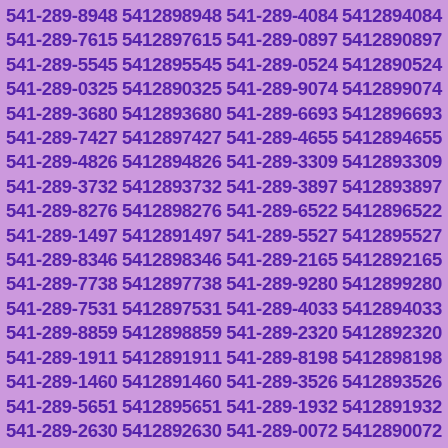541-289-8948 5412898948 541-289-4084 5412894084 541-289-7615 5412897615 541-289-0897 5412890897 541-289-5545 5412895545 541-289-0524 5412890524 541-289-0325 5412890325 541-289-9074 5412899074 541-289-3680 5412893680 541-289-6693 5412896693 541-289-7427 5412897427 541-289-4655 5412894655 541-289-4826 5412894826 541-289-3309 5412893309 541-289-3732 5412893732 541-289-3897 5412893897 541-289-8276 5412898276 541-289-6522 5412896522 541-289-1497 5412891497 541-289-5527 5412895527 541-289-8346 5412898346 541-289-2165 5412892165 541-289-7738 5412897738 541-289-9280 5412899280 541-289-7531 5412897531 541-289-4033 5412894033 541-289-8859 5412898859 541-289-2320 5412892320 541-289-1911 5412891911 541-289-8198 5412898198 541-289-1460 5412891460 541-289-3526 5412893526 541-289-5651 5412895651 541-289-1932 5412891932 541-289-2630 5412892630 541-289-0072 5412890072 541-289-4934 5412894934 541-289-1158 5412891158 541-289-6400 5412896400 541-289-2934 5412892934 541-289-6289 5412896289 541-289-5027 5412895027